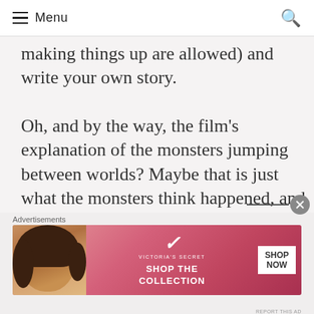Menu
making things up are allowed) and write your own story.
Oh, and by the way, the film's explanation of the monsters jumping between worlds? Maybe that is just what the monsters think happened, and maybe they simply forgot that part of the history. After all, humans do that all the time; tons of historical accounts have
Advertisements
[Figure (photo): Victoria's Secret advertisement banner showing a model with curly hair, VS logo, text 'SHOP THE COLLECTION' and 'SHOP NOW' button]